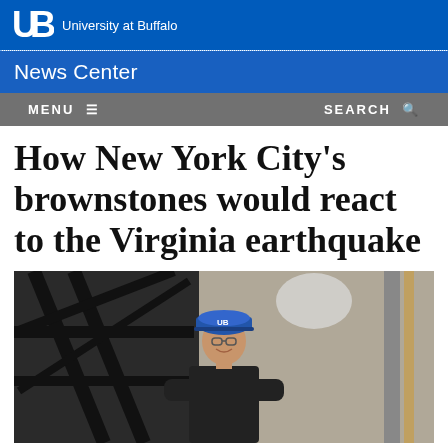UB University at Buffalo
News Center
MENU   SEARCH
How New York City's brownstones would react to the Virginia earthquake
[Figure (photo): A man wearing a hard hat and dark shirt stands with arms crossed inside what appears to be a structural engineering lab, surrounded by steel frames and construction equipment, smiling at the camera.]